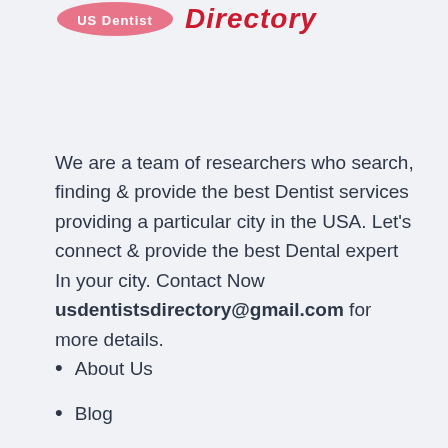[Figure (logo): Pink pill/blob shape logo with red bold italic 'Directory' text next to it]
We are a team of researchers who search, finding & provide the best Dentist services providing a particular city in the USA. Let's connect & provide the best Dental expert In your city. Contact Now usdentistsdirectory@gmail.com for more details.
About Us
Blog